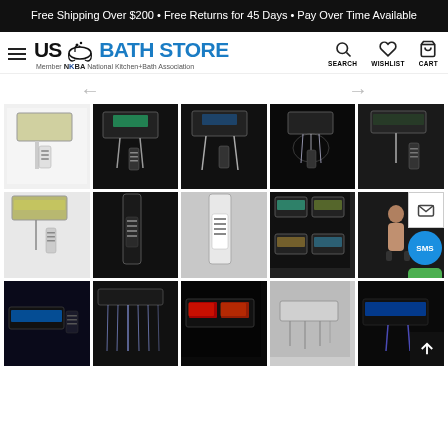Free Shipping Over $200 • Free Returns for 45 Days • Pay Over Time Available
[Figure (screenshot): US Bath Store website header with logo, navigation icons (Search, Wishlist, Cart), and gallery of shower head product images in a 5-column grid layout showing ceiling-mounted LED shower systems.]